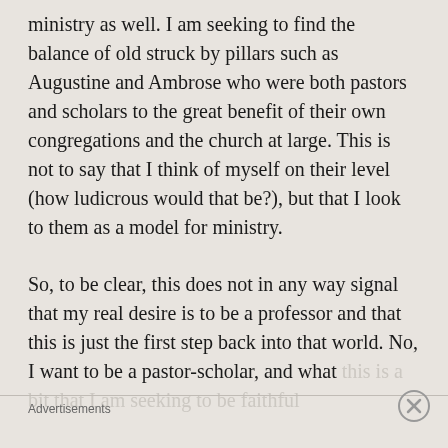ministry as well. I am seeking to find the balance of old struck by pillars such as Augustine and Ambrose who were both pastors and scholars to the great benefit of their own congregations and the church at large. This is not to say that I think of myself on their level (how ludicrous would that be?), but that I look to them as a model for ministry.
So, to be clear, this does not in any way signal that my real desire is to be a professor and that this is just the first step back into that world. No, I want to be a pastor-scholar, and what this is ...
Advertisements